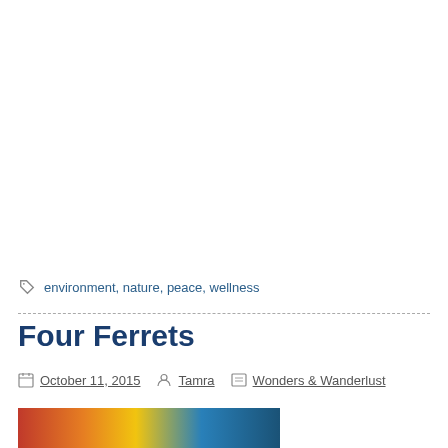environment, nature, peace, wellness
Four Ferrets
October 11, 2015  Tamra  Wonders & Wanderlust
[Figure (photo): Partial view of a colorful image at the bottom of the page]